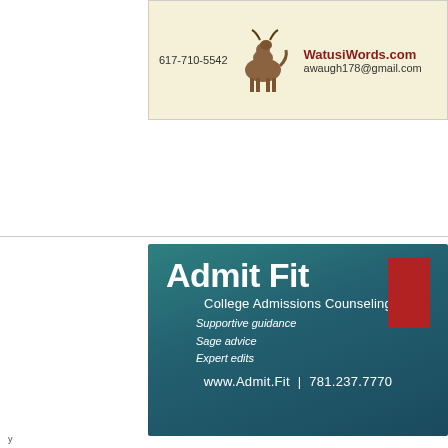[Figure (other): Advertisement for WatusiWords.com showing phone number 617-710-5542, an illustration of a dog/watusi animal, website WatusiWords.com and email awaugh178@gmail.com on a cream background]
[Figure (other): Advertisement for Admit Fit College Admissions Counseling on a teal/dark gradient background with a red rectangle accent. Text: Admit Fit, College Admissions Counseling, Supportive guidance, Sage advice, Expert edits, www.Admit.Fit | 781.237.7770]